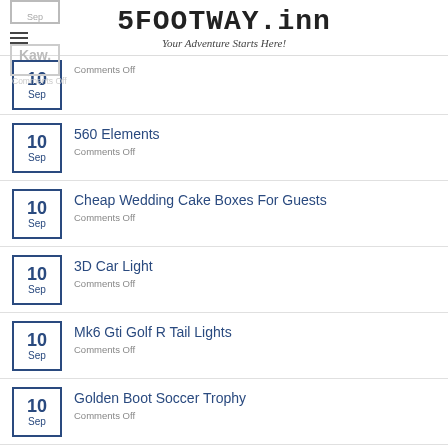5FOOTWAY.inn — Your Adventure Starts Here!
560 Elements
Comments Off
Cheap Wedding Cake Boxes For Guests
Comments Off
3D Car Light
Comments Off
Mk6 Gti Golf R Tail Lights
Comments Off
Golden Boot Soccer Trophy
Comments Off
Big Rhinestone Buttons
Comments Off